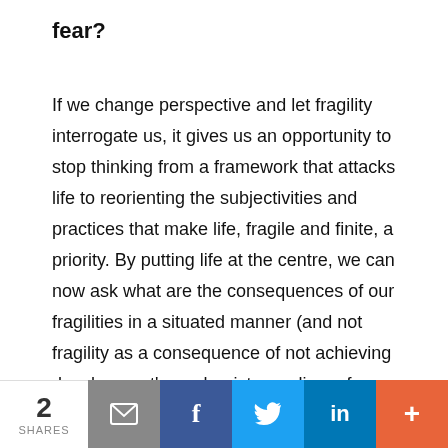fear?
If we change perspective and let fragility interrogate us, it gives us an opportunity to stop thinking from a framework that attacks life to reorienting the subjectivities and practices that make life, fragile and finite, a priority. By putting life at the centre, we can now ask what are the consequences of our fragilities in a situated manner (and not fragility as a consequence of not achieving development's modernist paradigm of 'opportunities') – we can now, therefore, imagine, think, create and value ways of deciding about our fragilities (so not being powerless before our lives). Human and ecological fragility set the limits: the limits of the
2 SHARES  [email] [facebook] [twitter] [linkedin] [more]